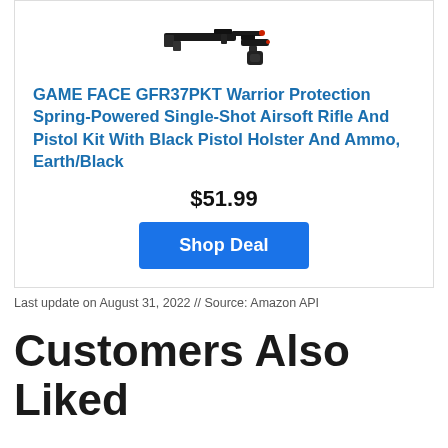[Figure (photo): Product image of airsoft rifle and pistol kit with holster]
GAME FACE GFR37PKT Warrior Protection Spring-Powered Single-Shot Airsoft Rifle And Pistol Kit With Black Pistol Holster And Ammo, Earth/Black
$51.99
Shop Deal
Last update on August 31, 2022 // Source: Amazon API
Customers Also Liked